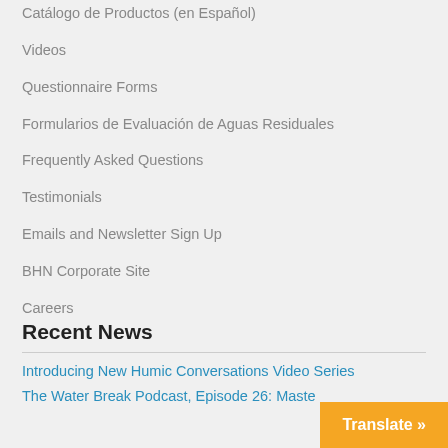Catálogo de Productos (en Español)
Videos
Questionnaire Forms
Formularios de Evaluación de Aguas Residuales
Frequently Asked Questions
Testimonials
Emails and Newsletter Sign Up
BHN Corporate Site
Careers
Recent News
Introducing New Humic Conversations Video Series
The Water Break Podcast, Episode 26: Maste